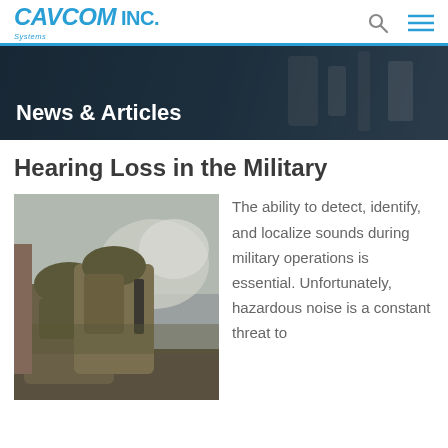CAVCOM INC.
News & Articles
Hearing Loss in the Military
[Figure (photo): Two military soldiers in camouflage gear crouching during a combat operation with smoke/fire visible in background]
The ability to detect, identify, and localize sounds during military operations is essential. Unfortunately, hazardous noise is a constant threat to